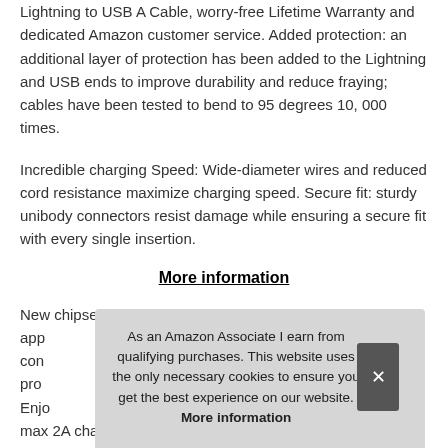Lightning to USB A Cable, worry-free Lifetime Warranty and dedicated Amazon customer service. Added protection: an additional layer of protection has been added to the Lightning and USB ends to improve durability and reduce fraying; cables have been tested to bend to 95 degrees 10, 000 times.
Incredible charging Speed: Wide-diameter wires and reduced cord resistance maximize charging speed. Secure fit: sturdy unibody connectors resist damage while ensuring a secure fit with every single insertion.
More information
New chipset & mfi-certified: this iphone charging cable uses app... con... pro... Enjo... max 2A charging current.
As an Amazon Associate I earn from qualifying purchases. This website uses the only necessary cookies to ensure you get the best experience on our website. More information